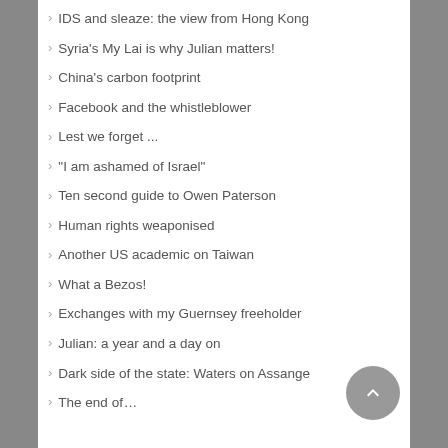IDS and sleaze: the view from Hong Kong
Syria's My Lai is why Julian matters!
China's carbon footprint
Facebook and the whistleblower
Lest we forget ...
"I am ashamed of Israel"
Ten second guide to Owen Paterson
Human rights weaponised
Another US academic on Taiwan
What a Bezos!
Exchanges with my Guernsey freeholder
Julian: a year and a day on
Dark side of the state: Waters on Assange
The end of...